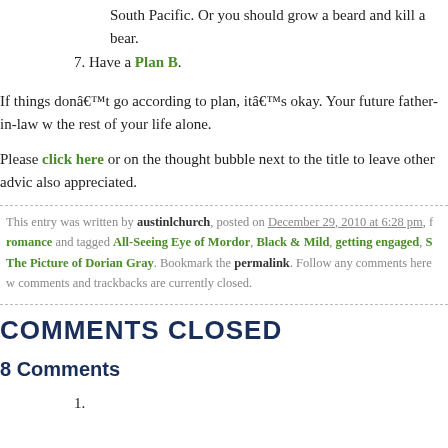South Pacific. Or you should grow a beard and kill a bear.
7. Have a Plan B.
If things donâ€™t go according to plan, itâ€™s okay. Your future father-in-law w the rest of your life alone.
Please click here or on the thought bubble next to the title to leave other advic also appreciated.
This entry was written by austinlchurch, posted on December 29, 2010 at 6:28 pm, f romance and tagged All-Seeing Eye of Mordor, Black & Mild, getting engaged, S The Picture of Dorian Gray. Bookmark the permalink. Follow any comments here w comments and trackbacks are currently closed.
COMMENTS CLOSED
8 Comments
1.